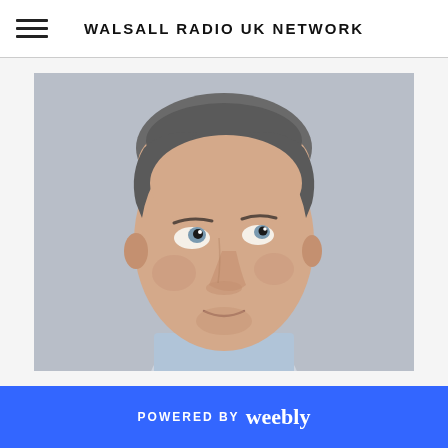WALSALL RADIO UK NETWORK
[Figure (photo): Headshot of a middle-aged man with short grey-streaked hair, looking upward and to the left with a quizzical expression, wearing a light blue shirt, photographed against a grey background.]
POWERED BY weebly